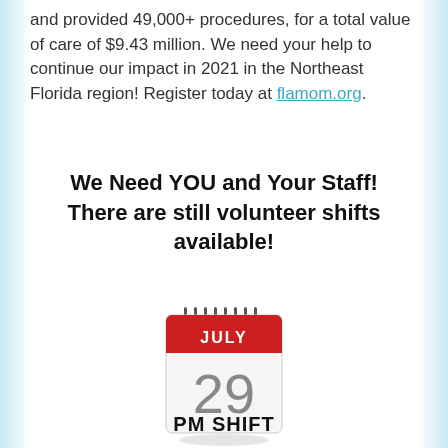and provided 49,000+ procedures, for a total value of care of $9.43 million. We need your help to continue our impact in 2021 in the Northeast Florida region! Register today at flamom.org.
We Need YOU and Your Staff! There are still volunteer shifts available!
[Figure (illustration): Calendar icon showing July 29]
PM SHIFT